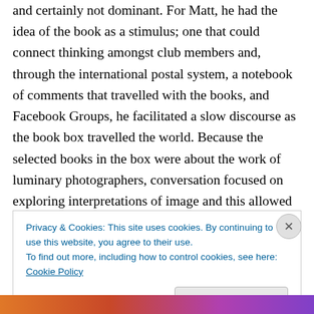and certainly not dominant. For Matt, he had the idea of the book as a stimulus; one that could connect thinking amongst club members and, through the international postal system, a notebook of comments that travelled with the books, and Facebook Groups, he facilitated a slow discourse as the book box travelled the world. Because the selected books in the box were about the work of luminary photographers, conversation focused on exploring interpretations of image and this allowed conversations to be more open to possibilities. Ideas of 'ownership' over conversation and the knowledge it can
Privacy & Cookies: This site uses cookies. By continuing to use this website, you agree to their use.
To find out more, including how to control cookies, see here: Cookie Policy